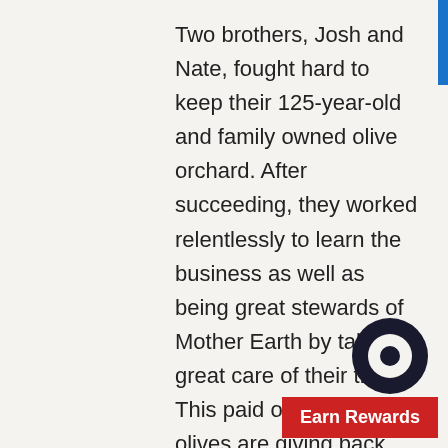Two brothers, Josh and Nate, fought hard to keep their 125-year-old and family owned olive orchard. After succeeding, they worked relentlessly to learn the business as well as being great stewards of Mother Earth by taking great care of their trees. This paid off, as the olives are giving back and each bottle the brothers produced has won an international award. The latest is a GOLD AWARD at the 2018 NYIOOC (largest olive oil competition in the world) for their Early Harvest Extra Virgin Olive Oil. Both brothers are highly committed to bringing
[Figure (other): Dark circular chat/widget icon overlapping the text area at bottom right]
Earn Rewards